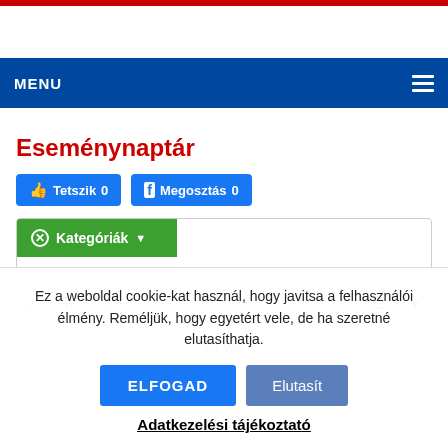MENU
Eseménynaptár
[Figure (screenshot): Facebook Tetszik 0 and Megosztás 0 social buttons]
✕ Kategóriák ▼
‹ 📅 › — navigation controls and list view button
28 vas
Ez a weboldal cookie-kat használ, hogy javitsa a felhasználói élmény. Reméljük, hogy egyetért vele, de ha szeretné elutasíthatja.
ELFOGAD
Elutasít
Adatkezelési tájékoztató